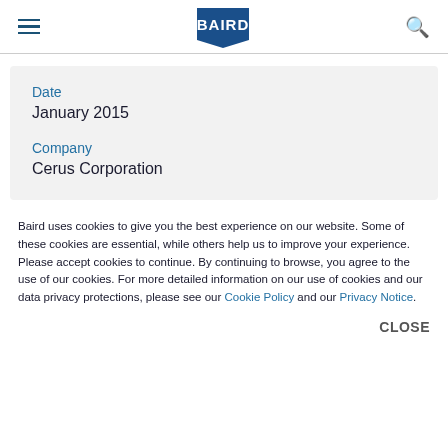Baird
Date
January 2015
Company
Cerus Corporation
Baird uses cookies to give you the best experience on our website. Some of these cookies are essential, while others help us to improve your experience. Please accept cookies to continue. By continuing to browse, you agree to the use of our cookies. For more detailed information on our use of cookies and our data privacy protections, please see our Cookie Policy and our Privacy Notice.
CLOSE